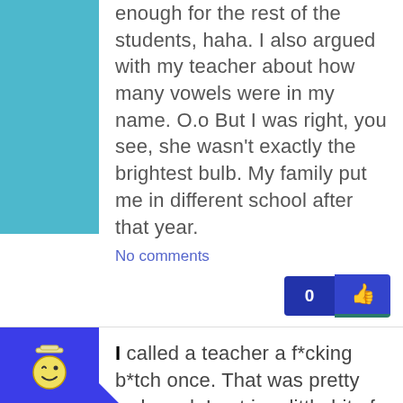enough for the rest of the students, haha. I also argued with my teacher about how many vowels were in my name. O.o But I was right, you see, she wasn't exactly the brightest bulb. My family put me in different school after that year.
No comments
I called a teacher a f*cking b*tch once. That was pretty awkward. I got in a little bit of trouble for that one.
No comments